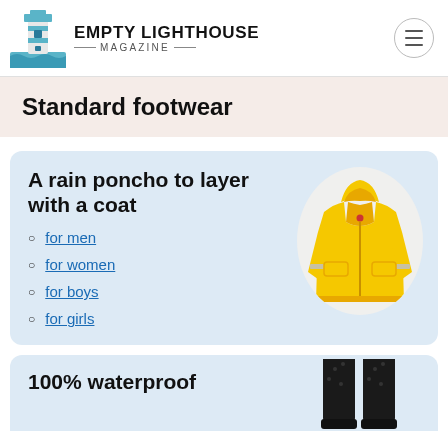EMPTY LIGHTHOUSE MAGAZINE
Standard footwear
A rain poncho to layer with a coat
for men
for women
for boys
for girls
[Figure (photo): Yellow children's rain jacket with reflective strips and hood]
100% waterproof
[Figure (photo): Black rubber rain boots (partial view)]